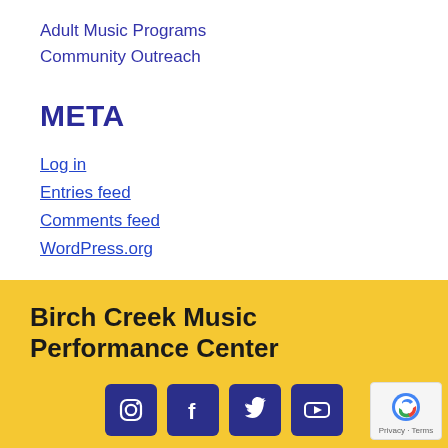Adult Music Programs
Community Outreach
META
Log in
Entries feed
Comments feed
WordPress.org
Birch Creek Music Performance Center
[Figure (infographic): Social media icons: Instagram, Facebook, Twitter, YouTube — white icons on dark blue square backgrounds]
[Figure (logo): reCAPTCHA badge with Privacy and Terms text]